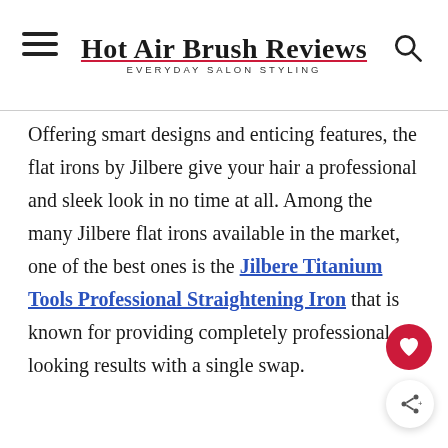Hot Air Brush Reviews — EVERYDAY SALON STYLING
Offering smart designs and enticing features, the flat irons by Jilbere give your hair a professional and sleek look in no time at all. Among the many Jilbere flat irons available in the market, one of the best ones is the Jilbere Titanium Tools Professional Straightening Iron that is known for providing completely professional-looking results with a single swap.